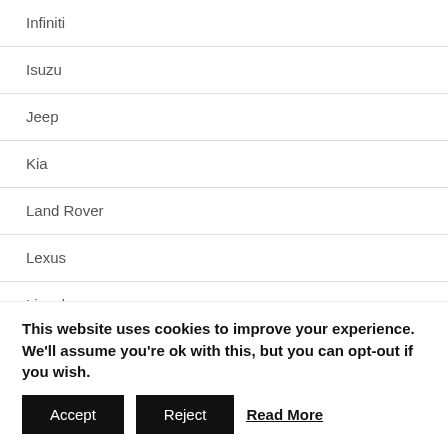Infiniti
Isuzu
Jeep
Kia
Land Rover
Lexus
Lincoln
Mazda
Mercedes-Benz
Mercury
MG
This website uses cookies to improve your experience. We'll assume you're ok with this, but you can opt-out if you wish.
Accept | Reject | Read More